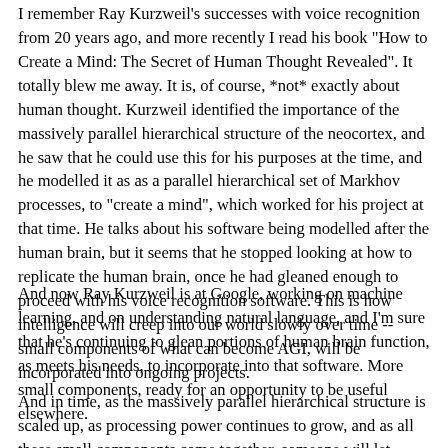I remember Ray Kurzweil's successes with voice recognition from 20 years ago, and more recently I read his book "How to Create a Mind: The Secret of Human Thought Revealed". It totally blew me away. It is, of course, *not* exactly about human thought. Kurzweil identified the importance of the massively parallel hierarchical structure of the neocortex, and he saw that he could use this for his purposes at the time, and he modelled it as as a parallel hierarchical set of Markhov processes, to "create a mind", which worked for his project at that time. He talks about his software being modelled after the human brain, but it seems that he stopped looking at how to replicate the human brain, once he had gleaned enough to proceed with his voice recognition software. This is how intelligence will creep into our world slowly over time -- small components of what can become AGI, will be incorporated into ongoing projects.
And now Ray Kurzweil is at Google, working on machine learning, and on understanding natural language, and I'm sure that he's continuing to glean portions of human brain function, as meets his needs, to incorporate into that software. More small components, ready for an opportunity to be useful elsewhere.
And in time, as the massively parallel hierarchical structure is scaled up, as processing power continues to grow, and as all these small components come together, someone will let enough of it